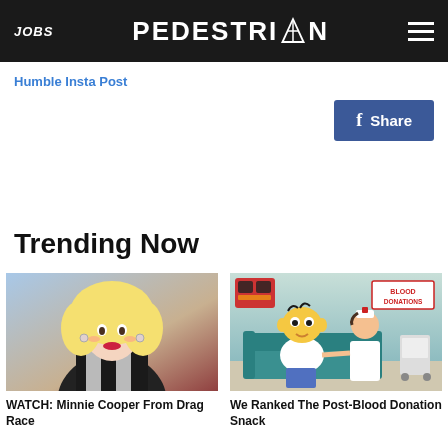JOBS | PEDESTRIAN | (hamburger menu)
Humble Insta Post
f Share
Trending Now
[Figure (photo): Drag queen with big blonde hair and dramatic makeup, wearing a black and white harlequin outfit]
WATCH: Minnie Cooper From Drag Race
[Figure (illustration): Simpsons animated scene: Homer Simpson sitting on a teal couch with a nurse at a blood donation clinic. Sign reads BLOOD DONATIONS in red on white background.]
We Ranked The Post-Blood Donation Snack